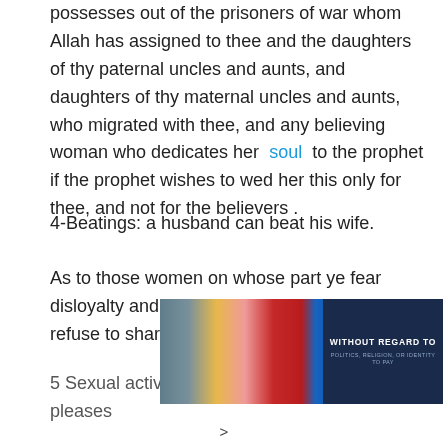possesses out of the prisoners of war whom Allah has assigned to thee and the daughters of thy paternal uncles and aunts, and daughters of thy maternal uncles and aunts, who migrated with thee, and any believing woman who dedicates her soul to the prophet if the prophet wishes to wed her this only for thee, and not for the believers .
4-Beatings: a husband can beat his wife.
As to those women on whose part ye fear disloyalty and ill conduct, admonish them, refuse to share their beds, and beat them .
5 Sexual activity: a husband is free to do as he pleases
[Figure (photo): Advertisement banner showing an airplane being loaded with cargo, with a dark blue box on the right reading 'WITHOUT REGARD TO POLITICS, RELIGION, OR IDENTITY TO PAY']